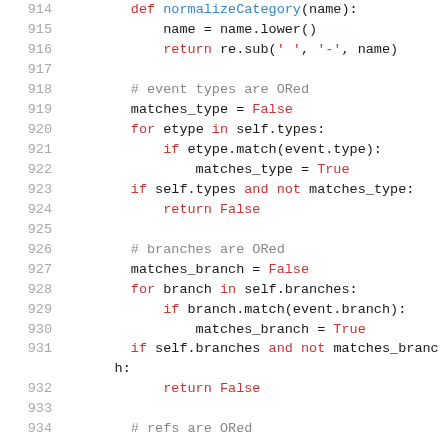Code listing lines 914–934, Python source code showing normalizeCategory function and event matching logic with types and branches
914     def normalizeCategory(name):
915         name = name.lower()
916         return re.sub(' ', '-', name)
917
918         # event types are ORed
919         matches_type = False
920         for etype in self.types:
921             if etype.match(event.type):
922                 matches_type = True
923         if self.types and not matches_type:
924             return False
925
926         # branches are ORed
927         matches_branch = False
928         for branch in self.branches:
929             if branch.match(event.branch):
930                 matches_branch = True
931         if self.branches and not matches_branch:
932             return False
933
934         # refs are ORed